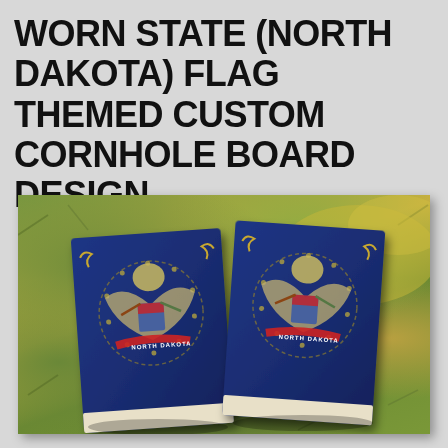WORN STATE (NORTH DAKOTA) FLAG THEMED CUSTOM CORNHOLE BOARD DESIGN
[Figure (photo): Two cornhole boards lying on grass, each decorated with the North Dakota state flag design in a worn/distressed style. The boards feature the navy blue flag with the state seal (eagle, stars, ribbon reading NORTH DAKOTA) printed on them. The boards are positioned slightly angled on green grass.]